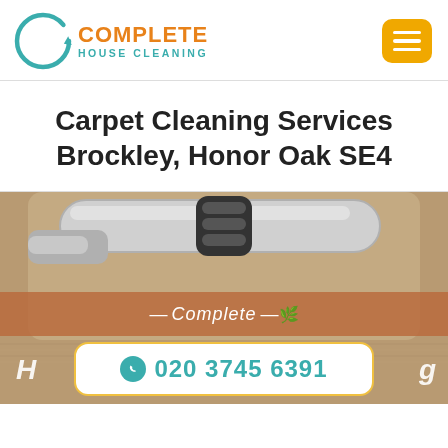[Figure (logo): Complete House Cleaning logo: circular arrow icon in teal, orange text COMPLETE, teal text HOUSE CLEANING]
[Figure (screenshot): Orange/yellow hamburger menu button with three white horizontal lines]
Carpet Cleaning Services Brockley, Honor Oak SE4
[Figure (photo): Close-up photo of vacuum cleaner hose on brown carpet, with an overlay showing Complete House Cleaning branding and a phone number button: 020 3745 6391]